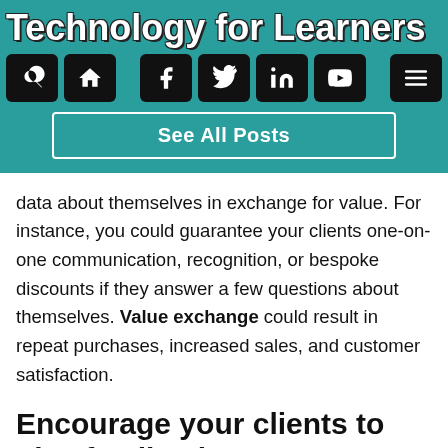Technology for Learners
data about themselves in exchange for value. For instance, you could guarantee your clients one-on-one communication, recognition, or bespoke discounts if they answer a few questions about themselves. Value exchange could result in repeat purchases, increased sales, and customer satisfaction.
Encourage your clients to give feedback
After you have gained your customer's trust and have their full consent, the next step would be to create an